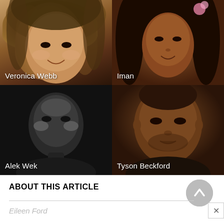[Figure (photo): Photo of Veronica Webb, a woman with long highlighted brown hair, smiling, bare shoulders. White text label 'Veronica Webb' at bottom left.]
[Figure (photo): Photo of Iman, a woman with long dark curly hair and a pink flower, dark background. White text label 'Iman' at bottom left.]
[Figure (photo): Black and white stylized photo of Alek Wek against dark background. White text label 'Alek Wek' at bottom left.]
[Figure (photo): Photo of Tyson Beckford, a man with close-cropped hair, serious expression. White text label 'Tyson Beckford' at bottom left.]
ABOUT THIS ARTICLE
Eileen Ford